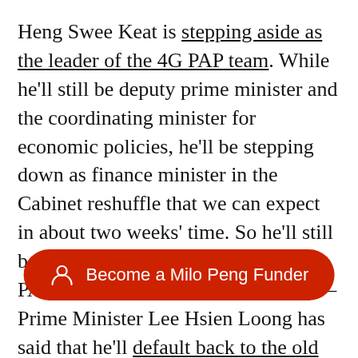Heng Swee Keat is stepping aside as the leader of the 4G PAP team. While he'll still be deputy prime minister and the coordinating minister for economic policies, he'll be stepping down as finance minister in the Cabinet reshuffle that we can expect in about two weeks' time. So he'll still be around, although the rest of the PAP are almost acting as if he won't—Prime Minister Lee Hsien Loong has said that he'll default back to the old practice of having Senior Minister Teo Chee Hean be acting PM in his absence.
Heng says that he's already 60 years old this year, and will be [obscured] which he thinks [obscured] to be head honcho before he gets too old. He
[Figure (other): Red pill-shaped button overlay with person icon and text 'Become a Milo Peng Funder']